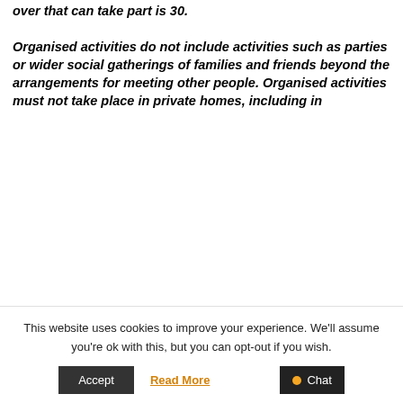number of people aged 12 and over that can take part is 30. Organised activities do not include activities such as parties or wider social gatherings of families and friends beyond the arrangements for meeting other people. Organised activities must not take place in private homes, including in
This website uses cookies to improve your experience. We'll assume you're ok with this, but you can opt-out if you wish.